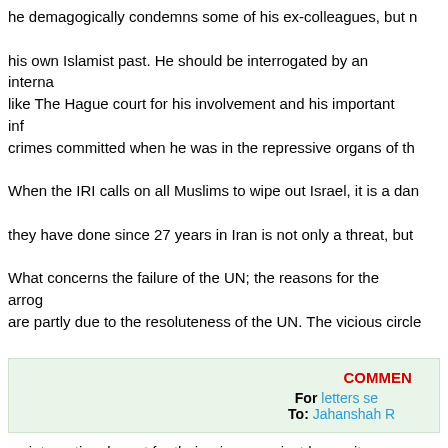he demagogically condemns some of his ex-colleagues, but never renounces his own Islamist past. He should be interrogated by an international court like The Hague court for his involvement and his important influence in crimes committed when he was in the repressive organs of the IRI. When the IRI calls on all Muslims to wipe out Israel, it is a danger. What they have done since 27 years in Iran is not only a threat, but a crime. What concerns the failure of the UN; the reasons for the arrogance of IRI are partly due to the resoluteness of the UN. The vicious circle is that the UN has not issued resolutions rejecting and definitively stopping the IRI. It is responsible to mandate the international community to bring the IRI before an international court for their crimes against humanity. The IRI remains as defiant as ever. Supreme leader Khamenei defies international pressures. Not insignificantly, Iran also staged military "tactics against a potential enemy," as reported by state television. By emphasising on the nuclear conflict, the IRI skilfully diverts the attention of violations against human rights. Iranian people, along with the world, should learn from the IRI's previous vicious games and do not enter any trap set by the totalitarian and anti Iranian regime of Mullahs. Comment
COMMENTS For letters send email To: Jahanshah R